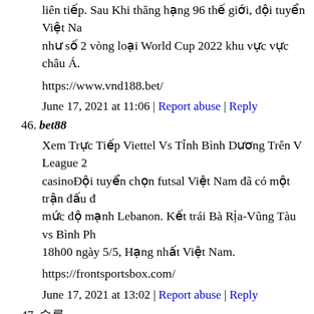liên tiếp. Sau Khi thăng hạng 96 thế giới, đội tuyển Việt Nam như số 2 vòng loại World Cup 2022 khu vực vực châu Á.
https://www.vnd188.bet/
June 17, 2021 at 11:06 | Report abuse | Reply
46. bet88
Xem Trực Tiếp Viettel Vs Tỉnh Bình Dương Trên V League 2casino Đội tuyển chọn futsal Việt Nam đã có một trận đấu đ... mức độ mạnh Lebanon. Kết trái Bà Rịa-Vũng Tàu vs Bình Ph... 18h00 ngày 5/5, Hạng nhất Việt Nam.
https://frontsportsbox.com/
June 17, 2021 at 13:02 | Report abuse | Reply
47. 슬롯
Excellent post. I definitely love this website. Thanks!
http://ormanov-baidybek.mektebi.kz/user/k8wsxxd544
June 17, 2021 at 14:44 | Report abuse | Reply
48. 슬롯머신
Everything is very open with a clear explanation of the chall...